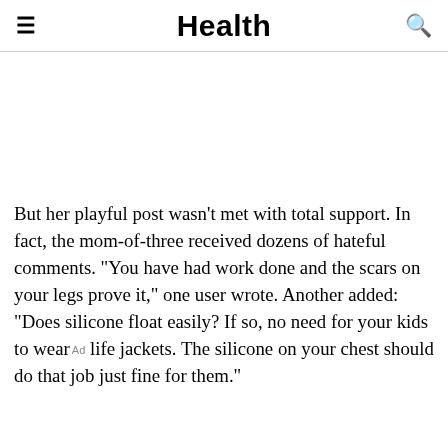Health
But her playful post wasn't met with total support. In fact, the mom-of-three received dozens of hateful comments. "You have had work done and the scars on your legs prove it," one user wrote. Another added: "Does silicone float easily? If so, no need for your kids to wear life jackets. The silicone on your chest should do that job just fine for them."